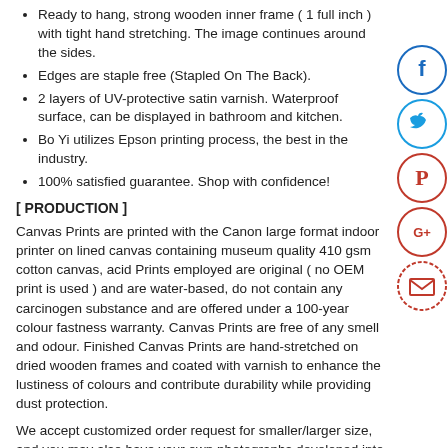Ready to hang, strong wooden inner frame ( 1 full inch ) with tight hand stretching. The image continues around the sides.
Edges are staple free (Stapled On The Back).
2 layers of UV-protective satin varnish. Waterproof surface, can be displayed in bathroom and kitchen.
Bo Yi utilizes Epson printing process, the best in the industry.
100% satisfied guarantee. Shop with confidence!
[ PRODUCTION ]
Canvas Prints are printed with the Canon large format indoor printer on lined canvas containing museum quality 410 gsm cotton canvas, acid Prints employed are original ( no OEM print is used ) and are water-based, do not contain any carcinogen substance and are offered under a 100-year colour fastness warranty. Canvas Prints are free of any smell and odour. Finished Canvas Prints are hand-stretched on dried wooden frames and coated with varnish to enhance the lustiness of colours and contribute durability while providing dust protection.
We accept customized order request for smaller/larger size, and you may also have your own photographs developed into Canvas Prints. You can immortalize your marriage photos, birthday pictures, photos of your children by getting them developed into Canvas Prints. You can gift them to your beloved and make surprises.
[Figure (infographic): Vertical stack of social media share icons: Facebook (blue circle with f), Twitter (blue circle with bird), Pinterest (red circle with P), Google+ (red circle with G+), Email (red circle with envelope)]